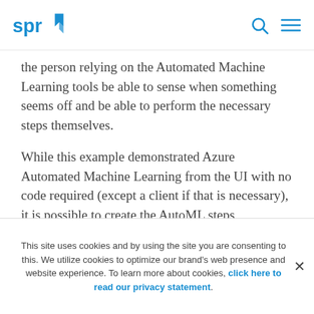SPR logo, search icon, menu icon
the person relying on the Automated Machine Learning tools be able to sense when something seems off and be able to perform the necessary steps themselves.
While this example demonstrated Azure Automated Machine Learning from the UI with no code required (except a client if that is necessary), it is possible to create the AutoML steps programmatically.
While AutoML is certainly a step along the broader Artificial Intelligence path, we still need human
This site uses cookies and by using the site you are consenting to this. We utilize cookies to optimize our brand’s web presence and website experience. To learn more about cookies, click here to read our privacy statement.